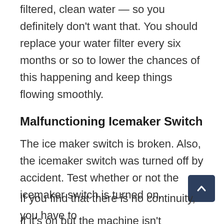filtered, clean water — so you definitely don't want that. You should replace your water filter every six months or so to lower the chances of this happening and keep things flowing smoothly.
Malfunctioning Icemaker Switch
The ice maker switch is broken. Also, the icemaker switch was turned off by accident. Test whether or not the icemaker switch is turned on.
If it's on but the machine isn't dispensing ice, use a multimeter to check for continuity to see if there are any problems with the switch.
If you find that there is no continuity, you have to...